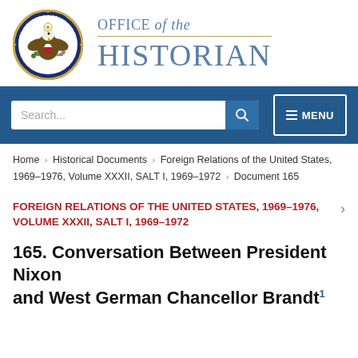[Figure (logo): US Department of State circular seal with eagle, shield, and text 'Department of State United States of America']
OFFICE OF THE HISTORIAN
[Figure (screenshot): Navigation bar with search box and MENU button on blue background]
Home › Historical Documents › Foreign Relations of the United States, 1969–1976, Volume XXXII, SALT I, 1969–1972 › Document 165
FOREIGN RELATIONS OF THE UNITED STATES, 1969–1976, VOLUME XXXII, SALT I, 1969–1972
165. Conversation Between President Nixon and West German Chancellor Brandt1